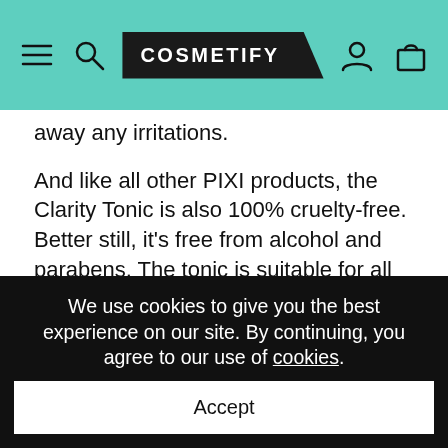COSMETIFY
away any irritations.
And like all other PIXI products, the Clarity Tonic is also 100% cruelty-free. Better still, it's free from alcohol and parabens. The tonic is suitable for all skin types, but blemish-prone skin may find it extra helpful.
Start with a clean base using the PIXI Clarity Cleanser. Follow up with the PIXI Clarity Concentrate. Complete the routine with PIXI Clarity Lotion.
We use cookies to give you the best experience on our site. By continuing, you agree to our use of cookies.
Accept